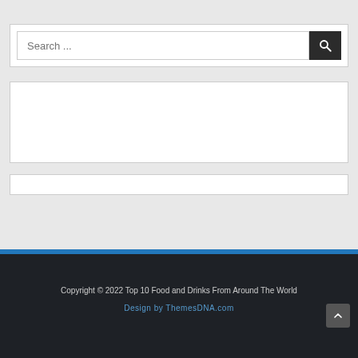[Figure (screenshot): Search widget with text input field showing placeholder 'Search ...' and a dark search button with magnifying glass icon]
[Figure (other): Large white empty content box]
[Figure (other): Small white empty content box]
Copyright © 2022 Top 10 Food and Drinks From Around The World
Design by ThemesDNA.com